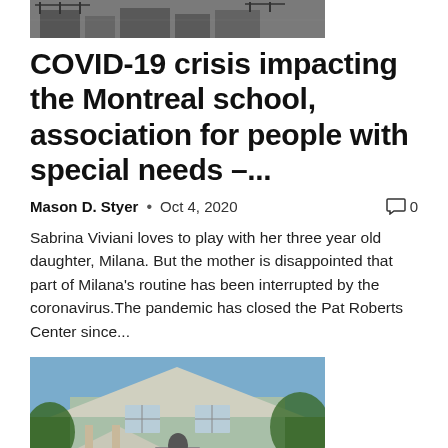[Figure (photo): Top partial photo of a building, cropped at top of page]
COVID-19 crisis impacting the Montreal school, association for people with special needs –...
Mason D. Styer • Oct 4, 2020    🗨 0
Sabrina Viviani loves to play with her three year old daughter, Milana. But the mother is disappointed that part of Milana's routine has been interrupted by the coronavirus.The pandemic has closed the Pat Roberts Center since...
[Figure (photo): Person standing in front of a green house with white trim]